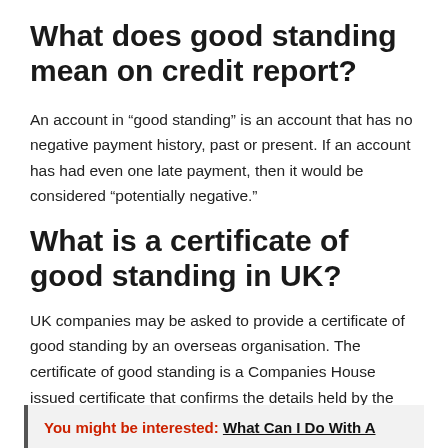What does good standing mean on credit report?
An account in “good standing” is an account that has no negative payment history, past or present. If an account has had even one late payment, then it would be considered “potentially negative.”
What is a certificate of good standing in UK?
UK companies may be asked to provide a certificate of good standing by an overseas organisation. The certificate of good standing is a Companies House issued certificate that confirms the details held by the public registrar at the time of issue.
You might be interested: What Can I Do With A